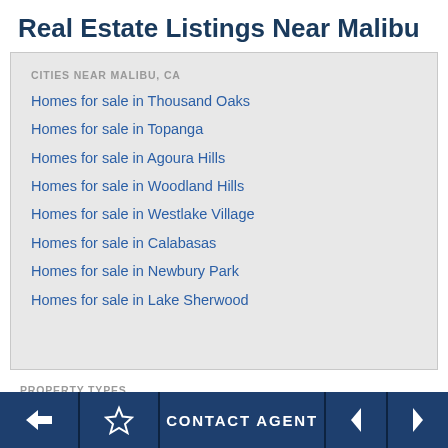Real Estate Listings Near Malibu
CITIES NEAR MALIBU, CA
Homes for sale in Thousand Oaks
Homes for sale in Topanga
Homes for sale in Agoura Hills
Homes for sale in Woodland Hills
Homes for sale in Westlake Village
Homes for sale in Calabasas
Homes for sale in Newbury Park
Homes for sale in Lake Sherwood
PROPERTY TYPES